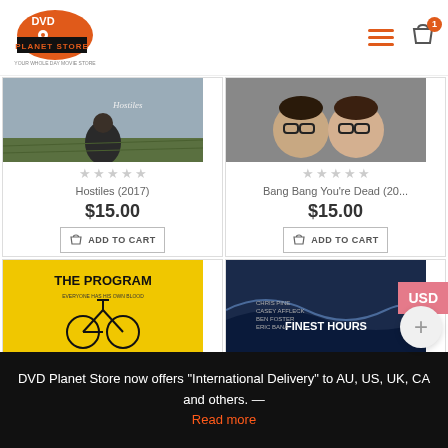[Figure (logo): DVD Planet Store logo - orange disc with planet and text]
[Figure (photo): Movie cover for Hostiles (2017) - person sitting in field]
★★★★★
Hostiles (2017)
$15.00
ADD TO CART
[Figure (photo): Movie cover for Bang Bang You're Dead (2002) - two men with glasses]
★★★★★
Bang Bang You're Dead (20...
$15.00
ADD TO CART
[Figure (photo): Movie cover for The Program - yellow background with bicycle]
[Figure (photo): Movie cover for The Finest Hours]
USD
DVD Planet Store now offers "International Delivery" to AU, US, UK, CA and others. — Read more